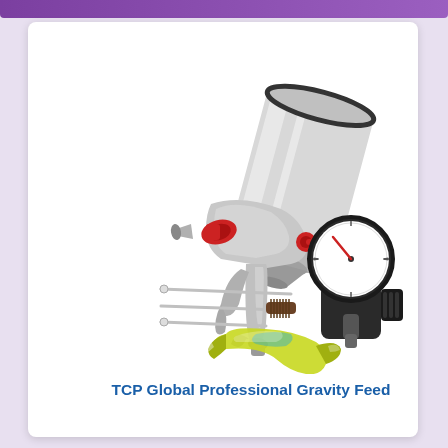[Figure (photo): TCP Global Professional Gravity Feed HVLP spray gun kit with silver/chrome body, red accent knobs, large metal gravity cup on top, plus accessory items including cleaning brushes, a yellow-green wrench/spanner tool, and a black air pressure regulator gauge with white face]
TCP Global Professional Gravity Feed